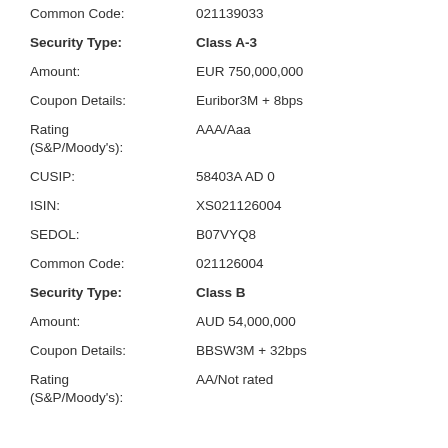Common Code: 021139033
Security Type: Class A-3
Amount: EUR 750,000,000
Coupon Details: Euribor3M + 8bps
Rating (S&P/Moody's): AAA/Aaa
CUSIP: 58403A AD 0
ISIN: XS021126004
SEDOL: B07VYQ8
Common Code: 021126004
Security Type: Class B
Amount: AUD 54,000,000
Coupon Details: BBSW3M + 32bps
Rating (S&P/Moody's): AA/Not rated